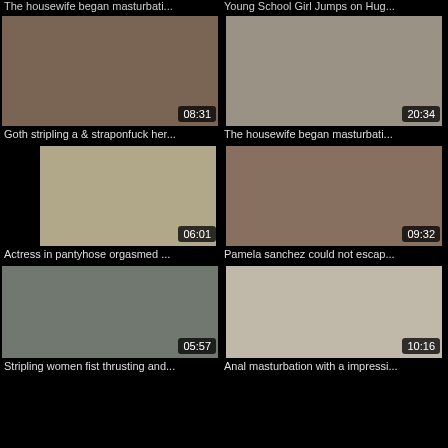The housewife began masturbati...   Young School Girl Jumps on Hug...
[Figure (photo): Video thumbnail - Goth stripling a & straponfuck her... duration 08:31]
[Figure (photo): Video thumbnail - The housewife began masturbati... duration 20:34]
Goth stripling a & straponfuck her...
The housewife began masturbati...
[Figure (photo): Video thumbnail - Actress in pantyhose orgasmed ... duration 06:01]
[Figure (photo): Video thumbnail - Pamela sanchez could not escap... duration 09:32]
Actress in pantyhose orgasmed ...
Pamela sanchez could not escap...
[Figure (photo): Video thumbnail - Stripling women fist thrusting and... duration 05:57]
[Figure (photo): Video thumbnail - Anal masturbation with a impressi... duration 10:16]
Stripling women fist thrusting and...
Anal masturbation with a impressi...